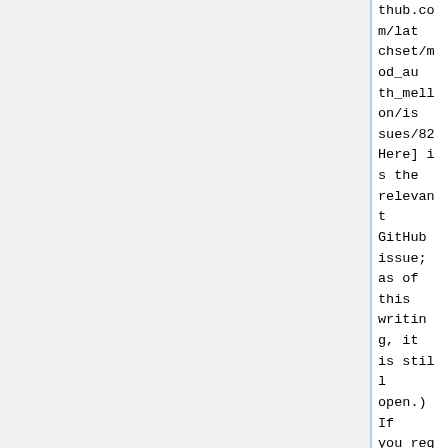thub.com/latchset/mod_auth_mellon/issues/82 Here] is the relevant GitHub issue; as of this writing, it is still open.) If you require UW authentication for your website, please send an email to syscom and we will configure